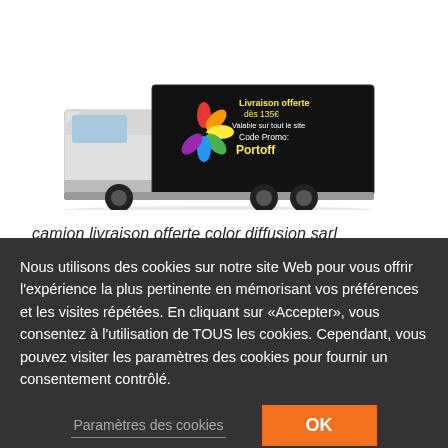[Figure (photo): A delivery truck with a black cargo box displaying promotional text: 'Livraison offerte dès 135€ Valable sur tout le site Code Promo: Portoff' with a colorful logo on the side.]
camion livraison offerte color diffusion sarl
Nous utilisons des cookies sur notre site Web pour vous offrir l'expérience la plus pertinente en mémorisant vos préférences et les visites répétées. En cliquant sur «Accepter», vous consentez à l'utilisation de TOUS les cookies. Cependant, vous pouvez visiter les paramètres des cookies pour fournir un consentement contrôlé.